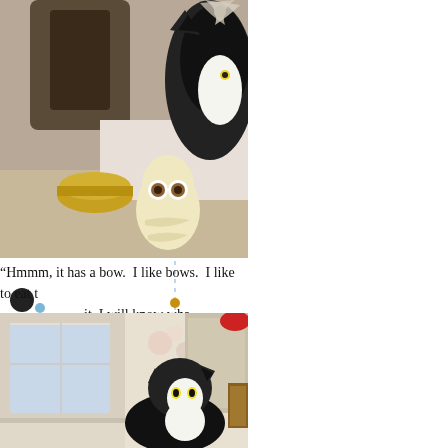[Figure (illustration): Decorative left border strip with blue bird/floral folk art illustrations, red berries, small dots, and vertical dashed line with gold/orange dots]
[Figure (photo): Black and white tuxedo cat near an owl figurine, a gold bowl, and a gift with a bow in an indoor setting]
“Hmmm, it has a bow.  I like bows.  I like to eat t… it, I will know wha…
[Figure (photo): Black and white tuxedo cat looking up in a room with floral wallpaper and decorative items]